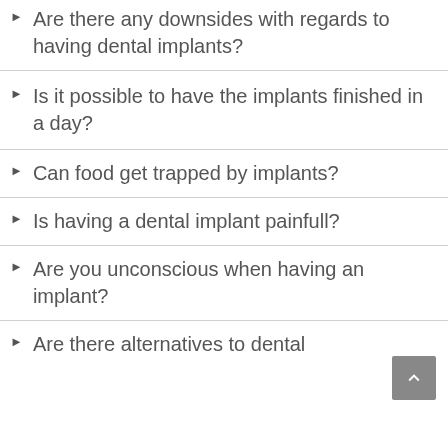Are there any downsides with regards to having dental implants?
Is it possible to have the implants finished in a day?
Can food get trapped by implants?
Is having a dental implant painfull?
Are you unconscious when having an implant?
Are there alternatives to dental